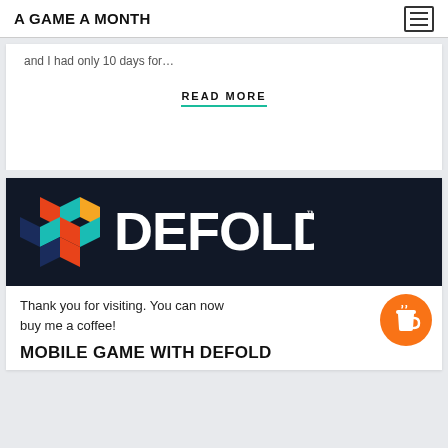A GAME A MONTH
and I had only 10 days for…
READ MORE
[Figure (logo): Defold logo on dark background — colorful geometric cube icon on the left, white DEFOLD text with TM mark on the right]
Thank you for visiting. You can now buy me a coffee!
MOBILE GAME WITH DEFOLD